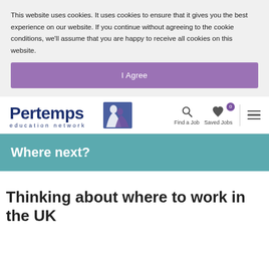This website uses cookies. It uses cookies to ensure that it gives you the best experience on our website. If you continue without agreeing to the cookie conditions, we'll assume that you are happy to receive all cookies on this website.
I Agree
[Figure (logo): Pertemps education network logo with stylized figure icon in dark blue and purple]
Find a Job
Saved Jobs
Where next?
Thinking about where to work in the UK